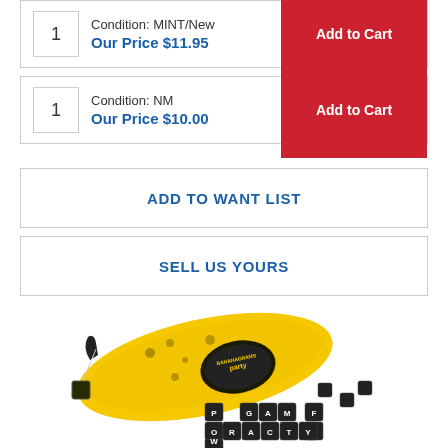Condition: MINT/New
Our Price $11.95
Add to Cart
Condition: NM
Our Price $10.00
Add to Cart
ADD TO WANT LIST
SELL US YOURS
[Figure (photo): Bananagrams Party edition game showing a yellow banana-shaped pouch with letter tiles spelling words like POWERS, GAME, PARITY, FRENZY, RACE scattered in front of it.]